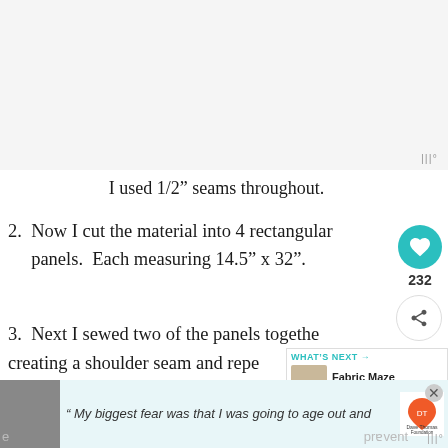[Figure (photo): Large image area at top of page, mostly white/light gray, cropped view.]
I used 1/2″ seams throughout.
2.  Now I cut the material into 4 rectangular panels.  Each measuring 14.5″ x 32".
3.  Next I sewed two of the panels together creating a shoulder seam and repe[ated with] the other two panels.  I also folded over the
[Figure (screenshot): Advertisement bar at bottom of page with a photo of a man in a beanie hat, text 'My biggest fear was that I was going to age out and', Dave Thomas Foundation for Adoption logo.]